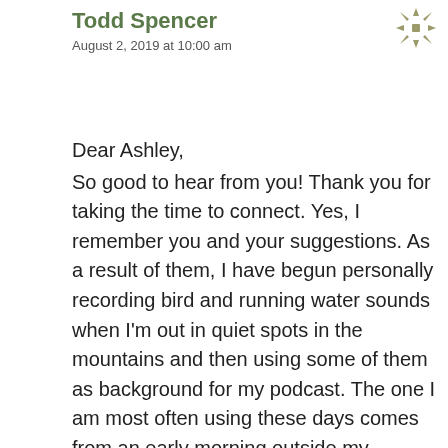Todd Spencer
August 2, 2019 at 10:00 am
[Figure (illustration): Decorative cross/compass rose icon in olive/gold color, top right corner]
Dear Ashley,
So good to hear from you! Thank you for taking the time to connect. Yes, I remember you and your suggestions. As a result of them, I have begun personally recording bird and running water sounds when I'm out in quiet spots in the mountains and then using some of them as background for my podcast. The one I am most often using these days comes from an early morning outside my brother's beautiful mountain house in the foothills of Mt. Shavano, near Salida, Colorado. And I think I am sharing what translation I am using most weeks. Although, it never changes — it's The Message Bible from Eugene Peterson. I just think that it